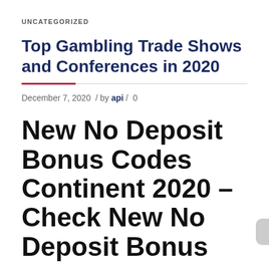UNCATEGORIZED
Top Gambling Trade Shows and Conferences in 2020
December 7, 2020  / by api /  0
New No Deposit Bonus Codes Continent 2020 – Check New No Deposit Bonus